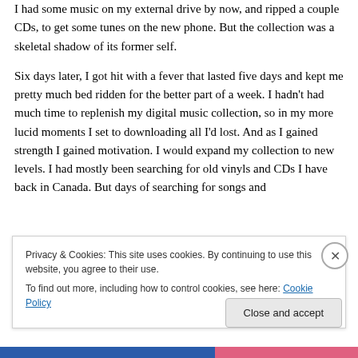I had some music on my external drive by now, and ripped a couple CDs, to get some tunes on the new phone. But the collection was a skeletal shadow of its former self.
Six days later, I got hit with a fever that lasted five days and kept me pretty much bed ridden for the better part of a week. I hadn't had much time to replenish my digital music collection, so in my more lucid moments I set to downloading all I'd lost. And as I gained strength I gained motivation. I would expand my collection to new levels. I had mostly been searching for old vinyls and CDs I have back in Canada. But days of searching for songs and
Privacy & Cookies: This site uses cookies. By continuing to use this website, you agree to their use.
To find out more, including how to control cookies, see here: Cookie Policy